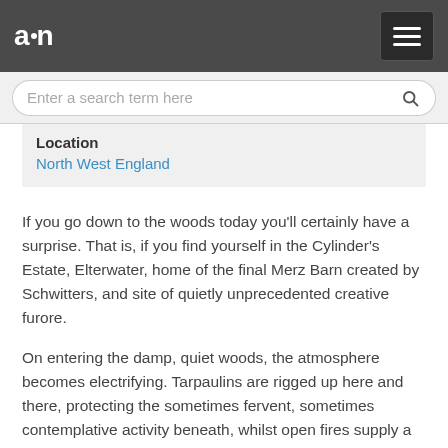a·n
Enter a search term here
Location
North West England
If you go down to the woods today you'll certainly have a surprise. That is, if you find yourself in the Cylinder's Estate, Elterwater, home of the final Merz Barn created by Schwitters, and site of quietly unprecedented creative furore.
On entering the damp, quiet woods, the atmosphere becomes electrifying. Tarpaulins are rigged up here and there, protecting the sometimes fervent, sometimes contemplative activity beneath, whilst open fires supply a smokey misty atmosphere following a rainburst a few moments since. Evidence of making is everywhere, as is evidence of thinking, talking, imagining, inventing, playing and musing. There is something apparent that is invisible, atmospheric, like a ghostly presence or a performance just